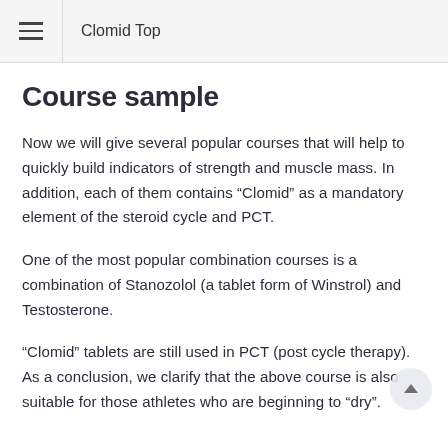Clomid Top
Course sample
Now we will give several popular courses that will help to quickly build indicators of strength and muscle mass. In addition, each of them contains “Clomid” as a mandatory element of the steroid cycle and PCT.
One of the most popular combination courses is a combination of Stanozolol (a tablet form of Winstrol) and Testosterone.
“Clomid” tablets are still used in PCT (post cycle therapy). As a conclusion, we clarify that the above course is also suitable for those athletes who are beginning to “dry”.